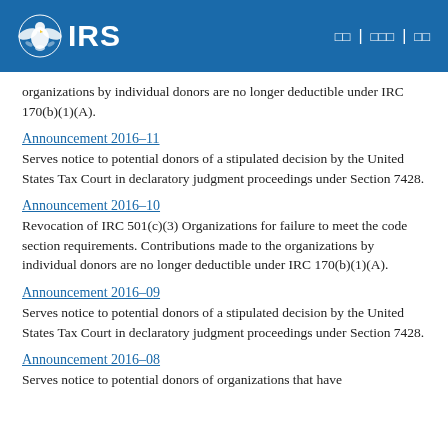IRS
organizations by individual donors are no longer deductible under IRC 170(b)(1)(A).
Announcement 2016–11
Serves notice to potential donors of a stipulated decision by the United States Tax Court in declaratory judgment proceedings under Section 7428.
Announcement 2016–10
Revocation of IRC 501(c)(3) Organizations for failure to meet the code section requirements. Contributions made to the organizations by individual donors are no longer deductible under IRC 170(b)(1)(A).
Announcement 2016–09
Serves notice to potential donors of a stipulated decision by the United States Tax Court in declaratory judgment proceedings under Section 7428.
Announcement 2016–08
Serves notice to potential donors of organizations that have